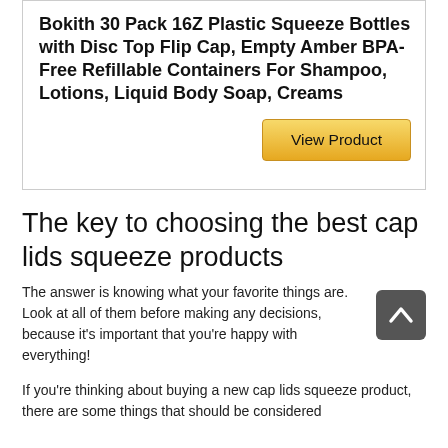Bokith 30 Pack 16Z Plastic Squeeze Bottles with Disc Top Flip Cap, Empty Amber BPA-Free Refillable Containers For Shampoo, Lotions, Liquid Body Soap, Creams
View Product
The key to choosing the best cap lids squeeze products
The answer is knowing what your favorite things are. Look at all of them before making any decisions, because it's important that you're happy with everything!
If you're thinking about buying a new cap lids squeeze product, there are some things that should be considered